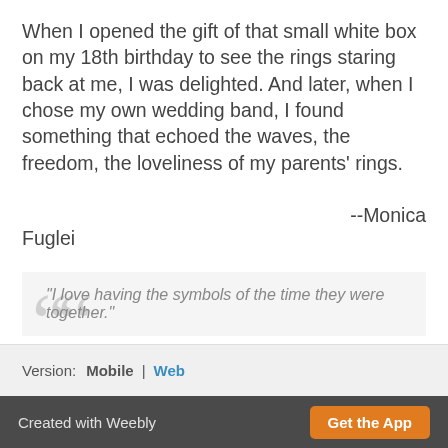When I opened the gift of that small white box on my 18th birthday to see the rings staring back at me, I was delighted. And later, when I chose my own wedding band, I found something that echoed the waves, the freedom, the loveliness of my parents' rings.
--Monica Fuglei
"I love having the symbols of the time they were together."
Version:  Mobile  |  Web
Created with Weebly  Get the App